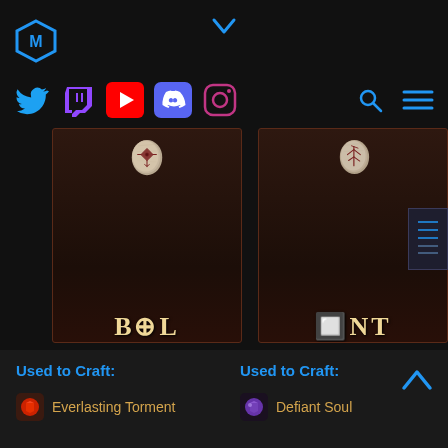Website navigation header with logo, social icons (Twitter, Twitch, YouTube, Discord, Instagram), search and menu icons
[Figure (illustration): Rune stone card labeled BOL - a carved stone rune with a diamond/cross-like symbol in dark red on a weathered stone, displayed on a dark brown card background]
[Figure (illustration): Rune stone card labeled ENT - a carved stone rune with an angular symbol in dark red on a weathered stone, displayed on a dark brown card background]
Used to Craft:
Used to Craft:
Everlasting Torment
Defiant Soul